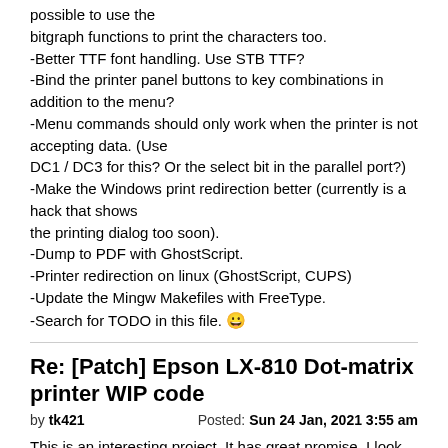possible to use the bitgraph functions to print the characters too.
-Better TTF font handling. Use STB TTF?
-Bind the printer panel buttons to key combinations in addition to the menu?
-Menu commands should only work when the printer is not accepting data. (Use DC1 / DC3 for this? Or the select bit in the parallel port?)
-Make the Windows print redirection better (currently is a hack that shows the printing dialog too soon).
-Dump to PDF with GhostScript.
-Printer redirection on linux (GhostScript, CUPS)
-Update the Mingw Makefiles with FreeType.
-Search for TODO in this file. 😀
Re: [Patch] Epson LX-810 Dot-matrix printer WIP code
by tk421    Posted: Sun 24 Jan, 2021 3:55 am
This is an interesting project. It has great promise. I look forward to seeing the end result.